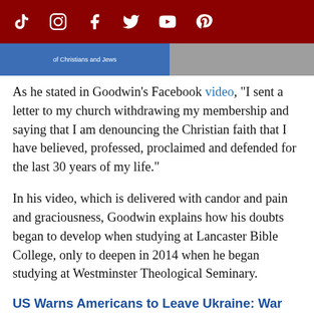[Social media icons: TikTok, Instagram, Facebook, Twitter, YouTube, Pinterest]
[Figure (screenshot): Partial image strip showing a blue image on the left and a gray image on the right, appearing to be a video thumbnail]
As he stated in Goodwin's Facebook video, "I sent a letter to my church withdrawing my membership and saying that I am denouncing the Christian faith that I have believed, professed, proclaimed and defended for the last 30 years of my life."
In his video, which is delivered with candor and pain and graciousness, Goodwin explains how his doubts began to develop when studying at Lancaster Bible College, only to deepen in 2014 when he began studying at Westminster Theological Seminary.
US Warns Americans to Leave Ukraine: War